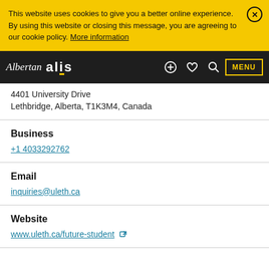This website uses cookies to give you a better online experience. By using this website or closing this message, you are agreeing to our cookie policy. More information
Albertan alis — MENU
4401 University Drive
Lethbridge, Alberta, T1K3M4, Canada
Business
+1 4033292762
Email
inquiries@uleth.ca
Website
www.uleth.ca/future-student